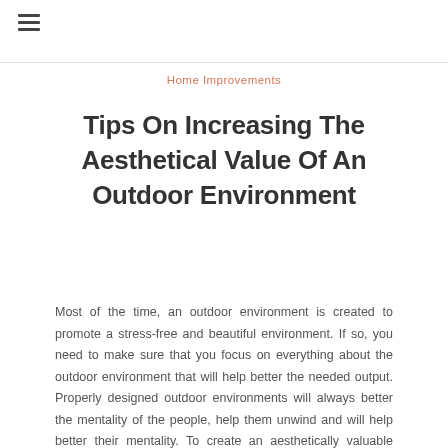Home Improvements
Tips On Increasing The Aesthetical Value Of An Outdoor Environment
Most of the time, an outdoor environment is created to promote a stress-free and beautiful environment. If so, you need to make sure that you focus on everything about the outdoor environment that will help better the needed output. Properly designed outdoor environments will always better the mentality of the people, help them unwind and will help better their mentality. To create an aesthetically valuable door environment will not be easy because the choices that you have to make are tough. Therefore, make sure that you focus on all the right choices to make that will bring in the ideal outcome out of what you are expecting to have. Here are some of the